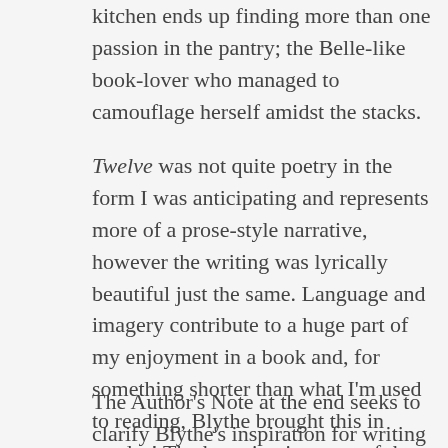kitchen ends up finding more than one passion in the pantry; the Belle-like book-lover who managed to camouflage herself amidst the stacks.
Twelve was not quite poetry in the form I was anticipating and represents more of a prose-style narrative, however the writing was lyrically beautiful just the same. Language and imagery contribute to a huge part of my enjoyment in a book and, for something shorter than what I'm used to reading, Blythe brought this in spades! The haunting imagery of the Third Sister's tale is sure to resonate with any bibliophile who has ever been lost and caught up in their own little bookish world.
The Author's Note at the end seeks to clarify Blythe's inspiration for writing these wonderful poems. It gives credence to the fact that she is well-versed in